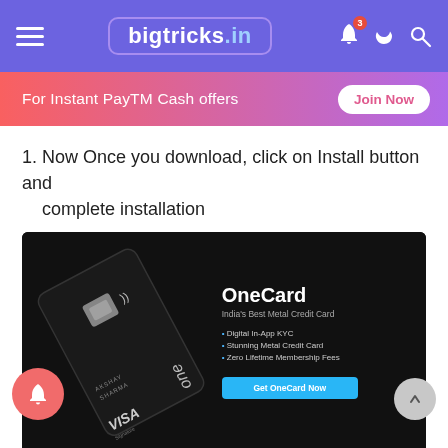bigtricks.in
For Instant PayTM Cash offers — Join Now
1. Now Once you download, click on Install button and complete installation
[Figure (photo): OneCard – India's Best Metal Credit Card advertisement showing a black metal Visa credit card with AKSHAY SHARMA name, NFC symbol, chip; features listed: Digital In-App KYC, Stunning Metal Credit Card, Zero Lifetime Membership Fees; Get OneCard Now button; App Store and Google Play download links at bottom.]